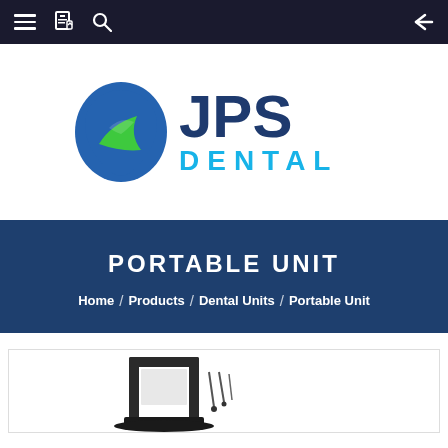Navigation bar with hamburger menu, document icon, search icon, and back arrow
[Figure (logo): JPS Dental logo with tooth icon in blue and green on the left and 'JPS DENTAL' text in blue and cyan on the right]
PORTABLE UNIT
Home / Products / Dental Units / Portable Unit
[Figure (photo): Partial photo of a portable dental unit equipment, dark colored frame with accessories, shown from below at the bottom of the page]